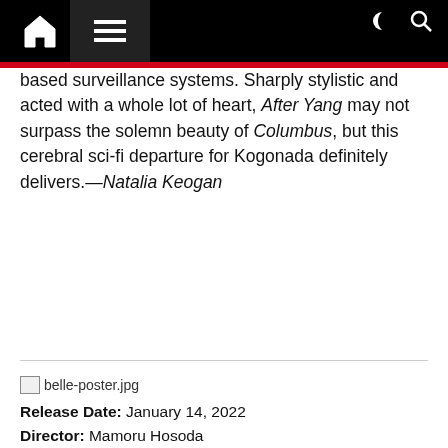Navigation bar with home, menu, dark mode, and search icons
based surveillance systems. Sharply stylistic and acted with a whole lot of heart, After Yang may not surpass the solemn beauty of Columbus, but this cerebral sci-fi departure for Kogonada definitely delivers.—Natalia Keogan
[Figure (photo): Broken image placeholder labeled belle-poster.jpg]
Release Date: January 14, 2022
Director: Mamoru Hosoda
Stars: Kaho Nakamura, Takeru Satoh, Ryô Narita, Lilas Ikuta, Shôta Sometani, Tina Tamashiro
Rating: PG
Runtime: 121 minutes